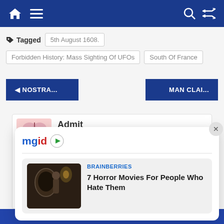Navigation bar with home, menu, search, and shuffle icons
Tagged  5th August 1608.  Forbidden History: Mass Sighting Of UFOs  South Of France
◄ NOSTRA...
MAN CLAI...
[Figure (screenshot): MGID advertisement popup showing a horror movie card titled '7 Horror Movies For People Who Hate Them' by BRAINBERRIES, with a dark movie still image on the left.]